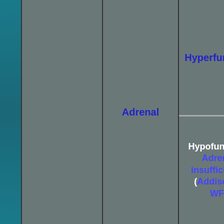|  |  | Function | Details |
| --- | --- | --- | --- |
| Adrenal |  | Hyperfunction | Conn, Bartte, Gluco, AME, Liddle's, 17α CAH, cortisol: syndrome, sex hormones, 11β CAH |
| Adrenal |  | Hypofunction/Adrenal insufficiency (Addison's, WF) | aldosterone, 21α C, 11β C, cortisol, Lipoid, 3β, 11β, 17α |